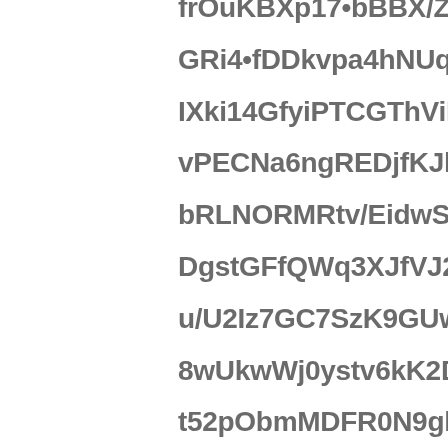frOuKBXp17+bBBX/ZHdmP+BBl0dg0f/K0dq+y0Xg5
GRi4+fDDkvpa4hNUqdfLAILSqvXk9JRli/v23CC
IXki14GfyiPTCGThViM4QK8tjol2ICXq/Ik4l8ay
vPECNa6ngREDjfKJlnBysWZ/cLhf2xsTEWUiB'
bRLNORMRtv/EidwSh44SJjo4kIjYPXbgnknK/
DgstGFfQWq3XJfVJ2bA6onl6onVct+SRzTv7ns
u/U2Iz7GC7SzK9GUwo0TUA7wwwxgEbed9Nte'
8wUkwWj0ystv6kK2DlKU9cull47skpfnnD4jIFx
t52pObmMDFR0N9gbD95hd/zyCBm1X872Gvo
LwmBefVkacoatKS1m7SXVct3E7dO9QGOixKr
Vmz2UKdw0S0bhjTYLrn55pu72Jj1Ix3yRURlrZc
hhhcnB1rLPUAgXdheoihlO8OCOdBcoBLjyBw
Dh6gyJ/Ak8MY1dXVXgbc+KEVQFqgTFnlH36cT
kWRDzMorr5wvK+7UM/WEFILfAgQNr2A/n0A
/vTpp+zil4+3dX+6s+0/5DSU076LCwG6Umm/c
/NL+O+QM++qBx6wz+CDmU2Ty0gVfn7frZDtKC
cczVmopK2GyHaSrs3PgxiAAQVVNAuMg/nhE+
LoQh/0hvbuohixt4tTK0DDGDZFpI1Fa5DiEqKI'
T3ZWyspHPw5YlGmn1nsvvCyLJaPtOz/ZKSVA
CvuF8FvvmKPsu4cernSJy7wdAlbjkQ/E7DniJW
F88gZvwjfDwj/Qgbz2xakX6EjWeELXw2lnakk
7DPSLfbMhmvF95Yj5pTM6Oh0+rTjz0IcEinmng